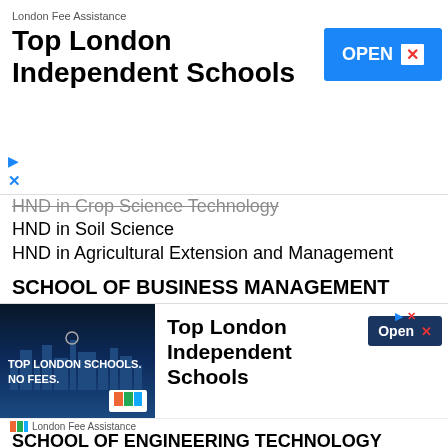[Figure (infographic): Top ad banner: London Fee Assistance - Top London Independent Schools with blue OPEN button]
HND in Crop Science Technology
HND in Soil Science
HND in Agricultural Extension and Management
SCHOOL OF BUSINESS MANAGEMENT TECHNOLOGY
HND in Accounting Technology
HND in Banking & Finance
HND in Business Administration
HND in Cooperative Economics
HND in Public Administration
[Figure (infographic): Bottom ad banner: Top London Schools No Fees - Top London Independent Schools with Open button and London Fee Assistance label]
SCHOOL OF ENGINEERING TECHNOLOGY (partially visible, cut off)